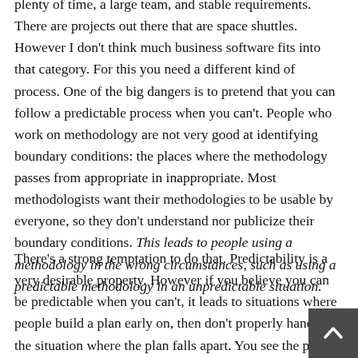plenty of time, a large team, and stable requirements. There are projects out there that are space shuttles. However I don't think much business software fits into that category. For this you need a different kind of process. One of the big dangers is to pretend that you can follow a predictable process when you can't. People who work on methodology are not very good at identifying boundary conditions: the places where the methodology passes from appropriate in inappropriate. Most methodologists want their methodologies to be usable by everyone, so they don't understand nor publicize their boundary conditions. This leads to people using a methodology in the wrong circumstances, such as using a predictable methodology in an unpredictable situation.
There's a strong temptation to do that. Predictability is a very desirable property. However if you believe you can be predictable when you can't, it leads to situations where people build a plan early on, then don't properly handle the situation where the plan falls apart. You see the plan and reality slowly drifting apart. For a long time you can pretend that the plan is still valid. But at some point the drift becomes too much and the plan falls apart. Usu...